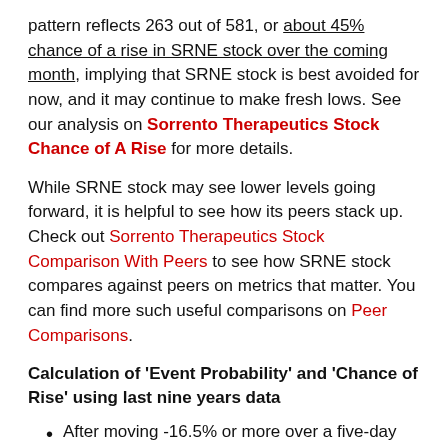pattern reflects 263 out of 581, or about 45% chance of a rise in SRNE stock over the coming month, implying that SRNE stock is best avoided for now, and it may continue to make fresh lows. See our analysis on Sorrento Therapeutics Stock Chance of A Rise for more details.
While SRNE stock may see lower levels going forward, it is helpful to see how its peers stack up. Check out Sorrento Therapeutics Stock Comparison With Peers to see how SRNE stock compares against peers on metrics that matter. You can find more such useful comparisons on Peer Comparisons.
Calculation of 'Event Probability' and 'Chance of Rise' using last nine years data
After moving -16.5% or more over a five-day period, the stock rose in the next five days on 46% of the occasions.